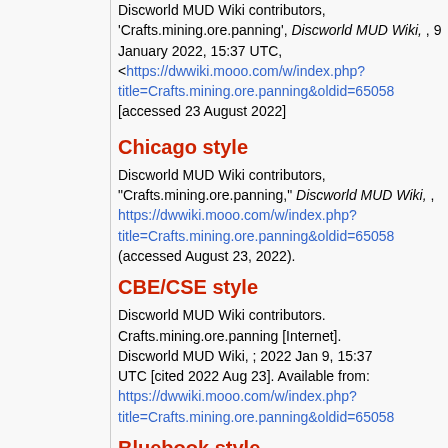Discworld MUD Wiki contributors, 'Crafts.mining.ore.panning', Discworld MUD Wiki, , 9 January 2022, 15:37 UTC, <https://dwwiki.mooo.com/w/index.php?title=Crafts.mining.ore.panning&oldid=65058 [accessed 23 August 2022]
Chicago style
Discworld MUD Wiki contributors, "Crafts.mining.ore.panning," Discworld MUD Wiki, , https://dwwiki.mooo.com/w/index.php?title=Crafts.mining.ore.panning&oldid=65058 (accessed August 23, 2022).
CBE/CSE style
Discworld MUD Wiki contributors. Crafts.mining.ore.panning [Internet]. Discworld MUD Wiki, ; 2022 Jan 9, 15:37 UTC [cited 2022 Aug 23]. Available from: https://dwwiki.mooo.com/w/index.php?title=Crafts.mining.ore.panning&oldid=65058
Bluebook style